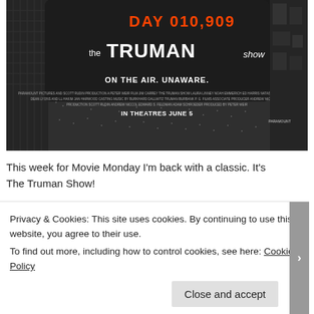[Figure (photo): Movie poster for 'The Truman Show' showing a large stadium screen displaying DAY 010,909 in orange digits, with the film title 'the TRUMAN show' in large white text. Tagline reads 'ON THE AIR. UNAWARE.' and 'IN THEATRES JUNE 5' at the bottom. Large crowd visible below.]
This week for Movie Monday I'm back with a classic. It's The Truman Show!
Plot: The plot is pretty deep, which may surprise some people
Privacy & Cookies: This site uses cookies. By continuing to use this website, you agree to their use.
To find out more, including how to control cookies, see here: Cookie Policy
Close and accept